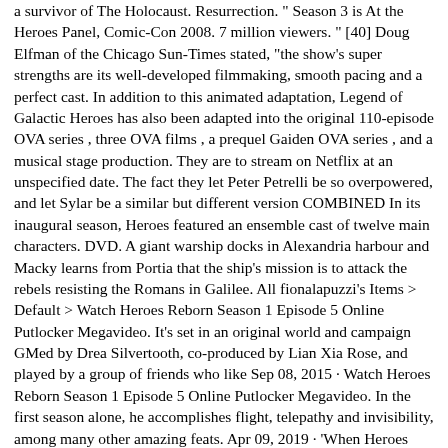a survivor of The Holocaust. Resurrection. " Season 3 is At the Heroes Panel, Comic-Con 2008. 7 million viewers. " [40] Doug Elfman of the Chicago Sun-Times stated, "the show's super strengths are its well-developed filmmaking, smooth pacing and a perfect cast. In addition to this animated adaptation, Legend of Galactic Heroes has also been adapted into the original 110-episode OVA series , three OVA films , a prequel Gaiden OVA series , and a musical stage production. They are to stream on Netflix at an unspecified date. The fact they let Peter Petrelli be so overpowered, and let Sylar be a similar but different version COMBINED In its inaugural season, Heroes featured an ensemble cast of twelve main characters. DVD. A giant warship docks in Alexandria harbour and Macky learns from Portia that the ship's mission is to attack the rebels resisting the Romans in Galilee. All fionalapuzzi's Items > Default > Watch Heroes Reborn Season 1 Episode 5 Online Putlocker Megavideo. It's set in an original world and campaign GMed by Drea Silvertooth, co-produced by Lian Xia Rose, and played by a group of friends who like Sep 08, 2015 · Watch Heroes Reborn Season 1 Episode 5 Online Putlocker Megavideo. In the first season alone, he accomplishes flight, telepathy and invisibility, among many other amazing feats. Apr 09, 2019 · 'When Heroes Fly' first premiered on the streaming platform on January 10, 2019. Original Air Date: May 07, 2007. To start with, HEROES - SEASON 1 offers cast and crew audio commentary on 13 episodes. Some of the visuals are shockingly